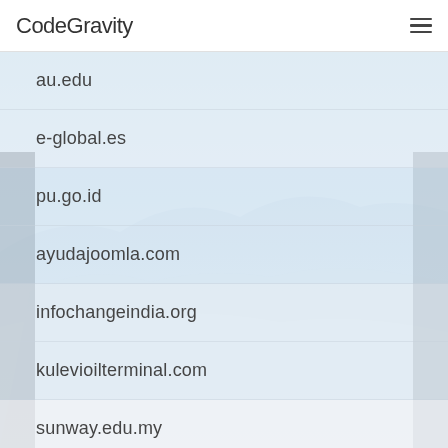CodeGravity
au.edu
e-global.es
pu.go.id
ayudajoomla.com
infochangeindia.org
kulevioilterminal.com
sunway.edu.my
northsidebaseball.com